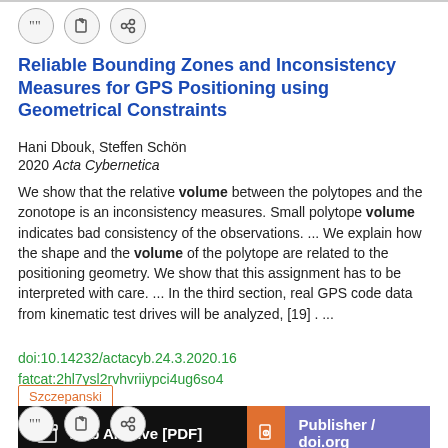[Figure (other): Three icon buttons: quote, edit, link]
Reliable Bounding Zones and Inconsistency Measures for GPS Positioning using Geometrical Constraints
Hani Dbouk, Steffen Schön
2020 Acta Cybernetica
We show that the relative volume between the polytopes and the zonotope is an inconsistency measures. Small polytope volume indicates bad consistency of the observations.  ...  We explain how the shape and the volume of the polytope are related to the positioning geometry. We show that this assignment has to be interpreted with care.  ...  In the third section, real GPS code data from kinematic test drives will be analyzed, [19] .  ...
doi:10.14232/actacyb.24.3.2020.16
fatcat:2hl7ysl2rvhvriiypci4ug6so4
Szczepanski
[Figure (other): Two buttons: Web Archive [PDF] (black) and Publisher / doi.org (purple with orange lock icon)]
[Figure (other): Three icon buttons: quote, edit, link]